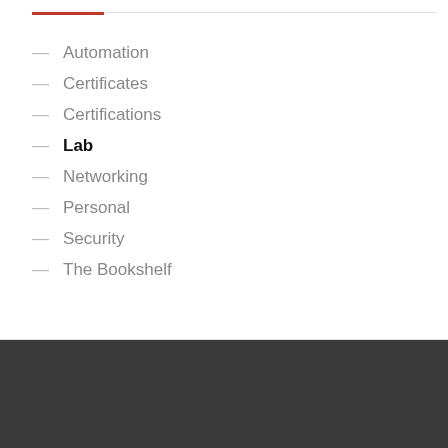Automation
Certificates
Certifications
Lab
Networking
Personal
Security
The Bookshelf
SEARCH ... TOP